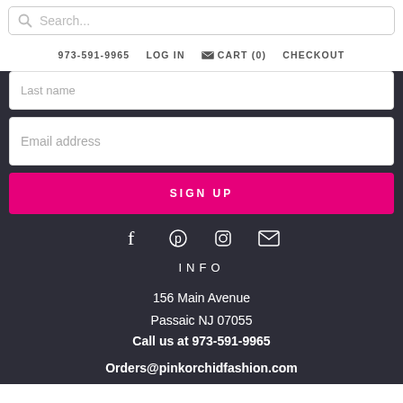Search...
973-591-9965  LOG IN  CART (0)  CHECKOUT
Last name
Email address
SIGN UP
[Figure (infographic): Social media icons: Facebook, Pinterest, Instagram, Email]
INFO
156 Main Avenue
Passaic NJ 07055
Call us at 973-591-9965
Orders@pinkorchidfashion.com